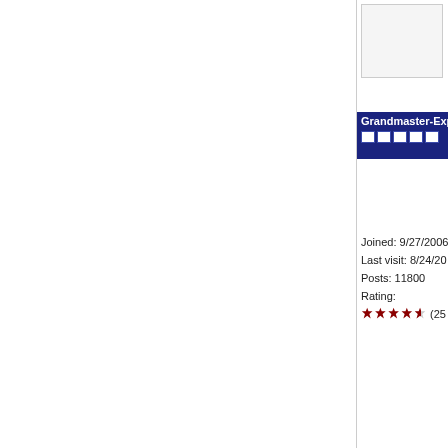[Figure (photo): User avatar image box, partially visible, light gray background with border]
Grandmaster-Expe
Joined: 9/27/2006
Last visit: 8/24/20
Posts: 11800
Rating:
[Figure (other): Star rating showing approximately 4.5 out of 5 stars in dark red/maroon pixel style, followed by (25 partially visible)]